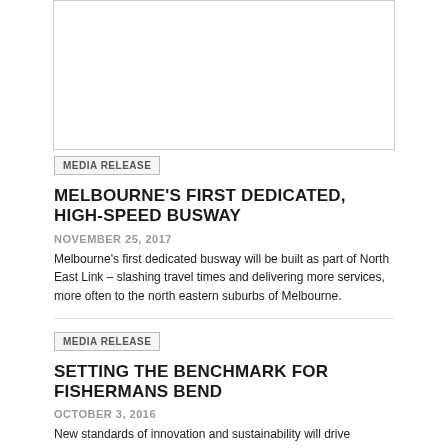[Figure (photo): Image placeholder at top of page, bordered white rectangle]
MEDIA RELEASE
MELBOURNE'S FIRST DEDICATED, HIGH-SPEED BUSWAY
NOVEMBER 25, 2017
Melbourne's first dedicated busway will be built as part of North East Link – slashing travel times and delivering more services, more often to the north eastern suburbs of Melbourne.
MEDIA RELEASE
SETTING THE BENCHMARK FOR FISHERMANS BEND
OCTOBER 3, 2016
New standards of innovation and sustainability will drive development of Fishermans Bend, with the release of the 2050 vision documents establishing a clear direction for future planning